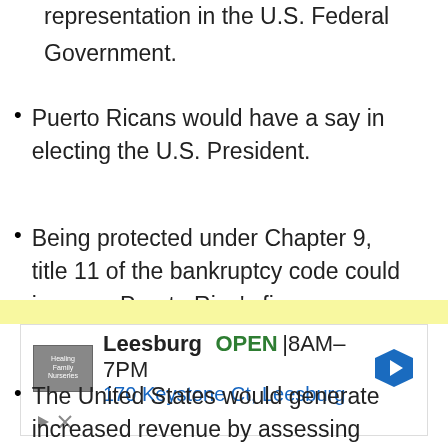representation in the U.S. Federal Government.
Puerto Ricans would have a say in electing the U.S. President.
Being protected under Chapter 9, title 11 of the bankruptcy code could improve Puerto Rico's finances.
The United States would generate increased revenue by assessing income taxes in Puerto Rico.
[Figure (screenshot): Advertisement banner showing Leesburg location, OPEN 8AM-7PM, 170 Keystone Ct, Leesburg with navigation arrow icon and logo]